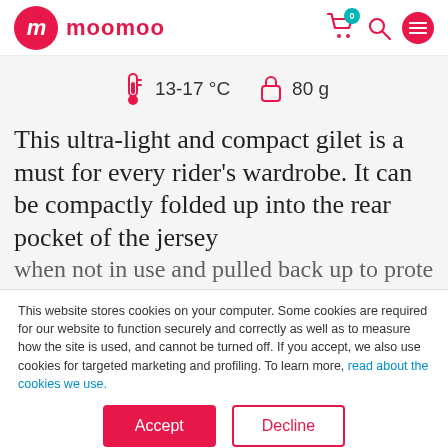moomoo
13-17 °C    80 g
This ultra-light and compact gilet is a must for every rider's wardrobe. It can be compactly folded up into the rear pocket of the jersey when not in use and pulled back up to protect
This website stores cookies on your computer. Some cookies are required for our website to function securely and correctly as well as to measure how the site is used, and cannot be turned off. If you accept, we also use cookies for targeted marketing and profiling. To learn more, read about the cookies we use.
Accept
Decline